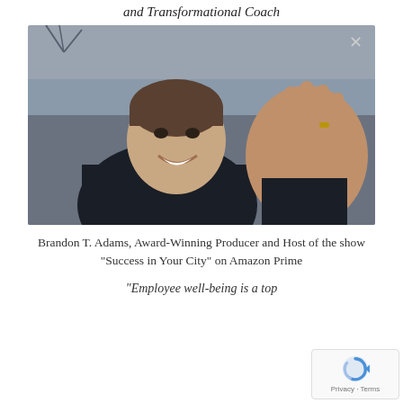and Transformational Coach
[Figure (photo): Photo of Brandon T. Adams smiling and waving at the camera, wearing a dark jacket, outdoors with a blurred background. An X close button is visible in the top right corner of the image.]
Brandon T. Adams, Award-Winning Producer and Host of the show "Success in Your City" on Amazon Prime
"Employee well-being is a top